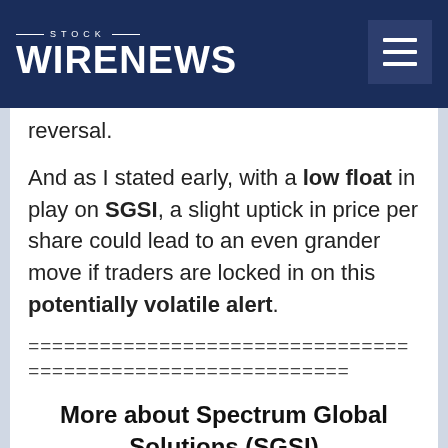STOCK WIRENEWS
reversal.
And as I stated early, with a low float in play on SGSI, a slight uptick in price per share could lead to an even grander move if traders are locked in on this potentially volatile alert.
================================
===========================
More about Spectrum Global Solutions (SGSI)
Spectrum Global Solutions have